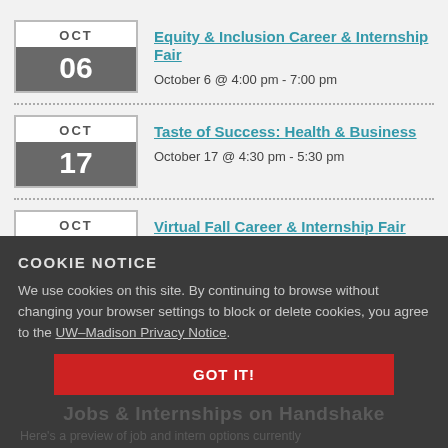OCT 06 | Equity & Inclusion Career & Internship Fair | October 6 @ 4:00 pm - 7:00 pm
OCT 17 | Taste of Success: Health & Business | October 17 @ 4:30 pm - 5:30 pm
OCT 25 | Virtual Fall Career & Internship Fair | October 25 @ 3:00 pm - 5:00 pm
COOKIE NOTICE
We use cookies on this site. By continuing to browse without changing your browser settings to block or delete cookies, you agree to the UW–Madison Privacy Notice.
GOT IT!
Jobs & Internships on Handshake
Here's a preview of job and intern options currently